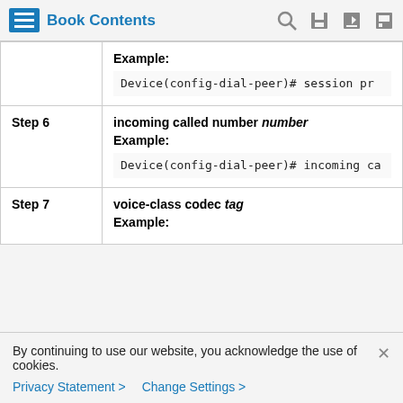Book Contents
| Step | Command/Description |
| --- | --- |
|  | Example:
Device(config-dial-peer)# session pr… |
| Step 6 | incoming called number number
Example:
Device(config-dial-peer)# incoming ca… |
| Step 7 | voice-class codec tag
Example: |
By continuing to use our website, you acknowledge the use of cookies.
Privacy Statement > Change Settings >